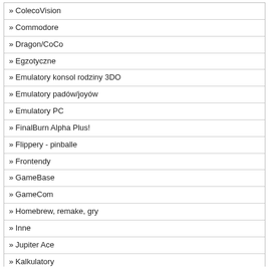» ColecoVision
» Commodore
» Dragon/CoCo
» Egzotyczne
» Emulatory konsol rodziny 3DO
» Emulatory padów/joyów
» Emulatory PC
» FinalBurn Alpha Plus!
» Flippery - pinballe
» Frontendy
» GameBase
» GameCom
» Homebrew, remake, gry
» Inne
» Jupiter Ace
» Kalkulatory
» Microsoft XBOX
» MSX i MSX2
» Multiemulatory
» Multiemulatory/Multipaki
» MUNT - Roland MT32 Emulator
» Narzędzia